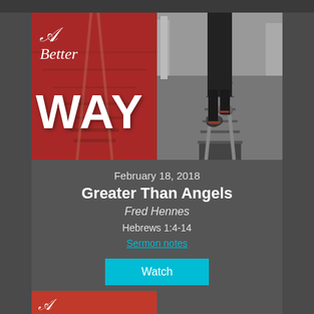[Figure (illustration): Sermon series graphic 'A Better Way' with two-panel image: left panel shows red-tinted railroad tracks with script title text 'A Better WAY', right panel shows black-and-white photo of person walking on railroad tracks viewed from behind]
February 18, 2018
Greater Than Angels
Fred Hennes
Hebrews 1:4-14
Sermon notes
Watch